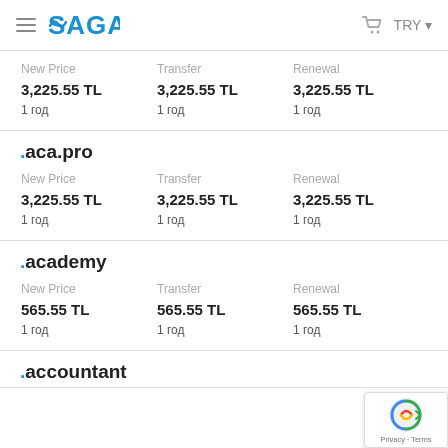SAGA — TRY
| New Price | Transfer | Renewal |
| --- | --- | --- |
| 3,225.55 TL | 3,225.55 TL | 3,225.55 TL |
| 1 год | 1 год | 1 год |
.aca.pro
| New Price | Transfer | Renewal |
| --- | --- | --- |
| 3,225.55 TL | 3,225.55 TL | 3,225.55 TL |
| 1 год | 1 год | 1 год |
.academy
| New Price | Transfer | Renewal |
| --- | --- | --- |
| 565.55 TL | 565.55 TL | 565.55 TL |
| 1 год | 1 год | 1 год |
.accountant